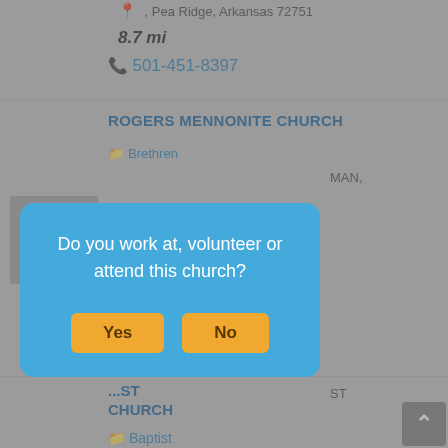📍 , Pea Ridge, Arkansas 72751
8.7 mi
📞 501-451-8397
[Figure (other): No Image placeholder box for Rogers Mennonite Church]
ROGERS MENNONITE CHURCH
📁 Brethren
Do you work at, volunteer or attend this church?
[Figure (other): No Image placeholder box for second church listing]
...ST CHURCH
📁 Baptist
1610 NORTHEST MONTE ROAD, Rogers, Arkansas 72756  8.85 mi
📞 479-636-5390